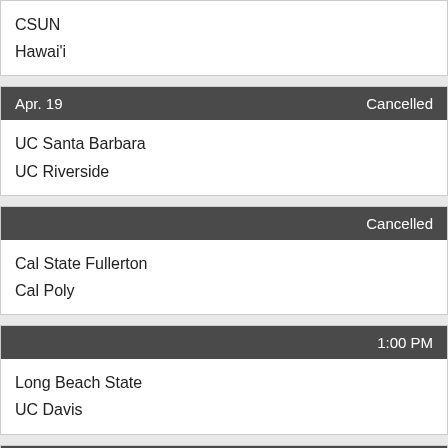| CSUN |  |
| Hawai'i |  |
| Apr. 19 | Cancelled |
| UC Santa Barbara |  |
| UC Riverside |  |
|  | Cancelled |
| Cal State Fullerton |  |
| Cal Poly |  |
|  | 1:00 PM |
| Long Beach State |  |
| UC Davis |  |
| Apr. 24 | 1:00 PM |